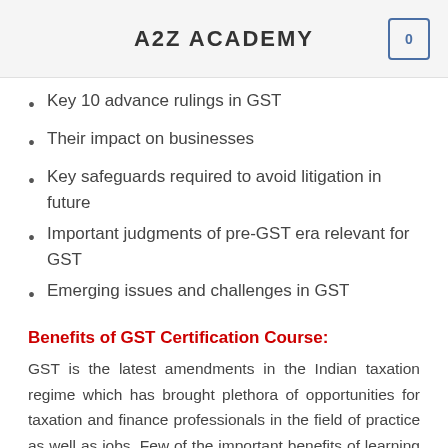A2Z ACADEMY
Key 10 advance rulings in GST
Their impact on businesses
Key safeguards required to avoid litigation in future
Important judgments of pre-GST era relevant for GST
Emerging issues and challenges in GST
Benefits of GST Certification Course:
GST is the latest amendments in the Indian taxation regime which has brought plethora of opportunities for taxation and finance professionals in the field of practice as well as jobs. Few of the important benefits of learning GST are